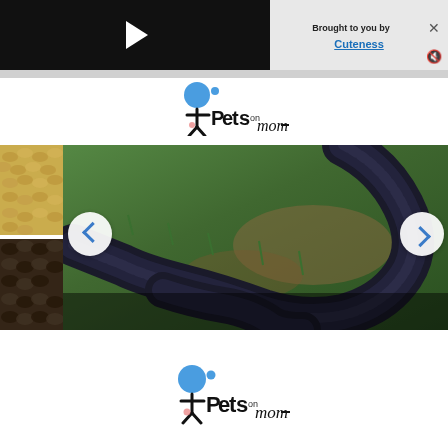[Figure (screenshot): Video player with black background and white play button triangle]
Brought to you by
Cuteness
[Figure (logo): PetsOnMom logo with blue circle and stylized pet figure]
[Figure (photo): Carousel with snake photos. Main image shows a dark blue/black snake on green grass. Left thumbnail strip shows two snake skin texture photos. Left and right navigation chevron arrows. Caption reads: How to Identify Snakes in Rho]
How to Identify Snakes in Rho
[Figure (logo): PetsOnMom logo with blue circle and stylized pet figure, bottom of page]